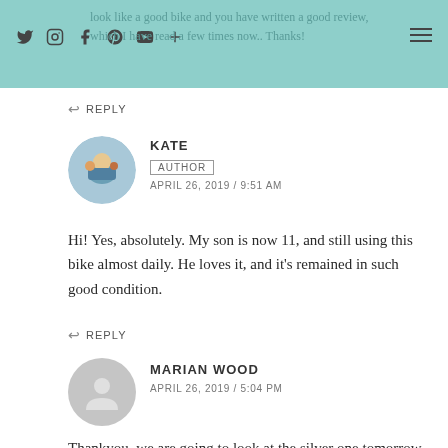look like a good bike and you have written a good review, which I have read a few times now.. Thanks!
REPLY
KATE
AUTHOR
APRIL 26, 2019 / 9:51 AM
Hi! Yes, absolutely. My son is now 11, and still using this bike almost daily. He loves it, and it's remained in such good condition.
REPLY
MARIAN WOOD
APRIL 26, 2019 / 5:04 PM
Thankyou, we are going to look at the silver one tomorrow.